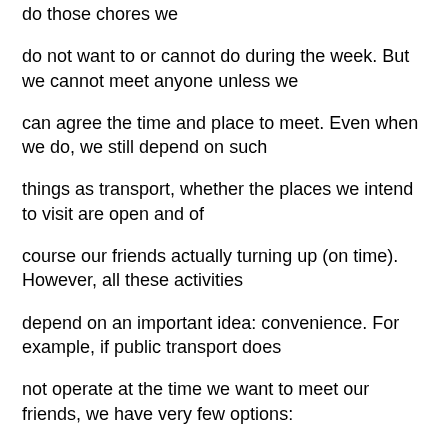do those chores we
do not want to or cannot do during the week. But we cannot meet anyone unless we
can agree the time and place to meet. Even when we do, we still depend on such
things as transport, whether the places we intend to visit are open and of
course our friends actually turning up (on time). However, all these activities
depend on an important idea: convenience. For example, if public transport does
not operate at the time we want to meet our friends, we have very few options:
we don't meet our friends, walk, go by car or whatever. If the shops we want to